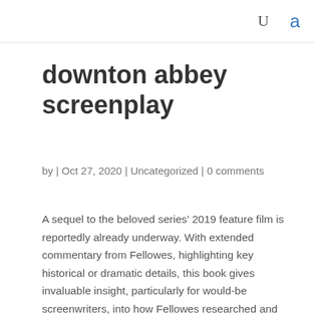U  a
downton abbey screenplay
by | Oct 27, 2020 | Uncategorized | 0 comments
A sequel to the beloved series’ 2019 feature film is reportedly already underway. With extended commentary from Fellowes, highlighting key historical or dramatic details, this book gives invaluable insight, particularly for would-be screenwriters, into how Fellowes researched and crafted the world of Downton Abbey. Something